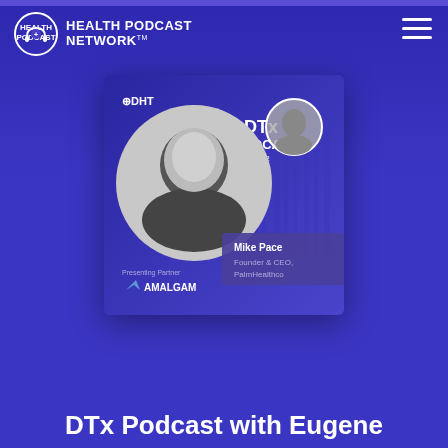[Figure (logo): Health Podcast Network logo with headphone icon and plus sign]
[Figure (illustration): Hamburger menu icon (three horizontal lines) in top right corner]
[Figure (photo): DTx Podcast Season 2 card featuring Mike Pace, Founder & CEO of PalmHealthco, with DHT logo and Amalgam presenting partner branding]
DTx Podcast with Eugene